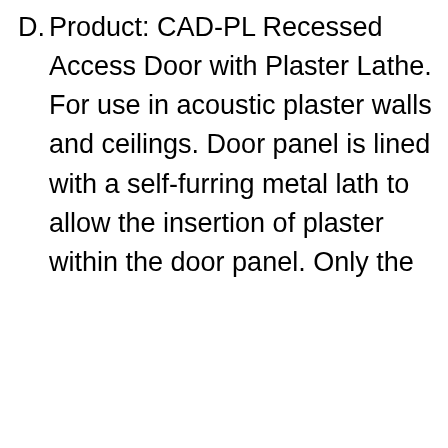D. Product: CAD-PL Recessed Access Door with Plaster Lathe. For use in acoustic plaster walls and ceilings. Door panel is lined with a self-furring metal lath to allow the insertion of plaster within the door panel. Only the